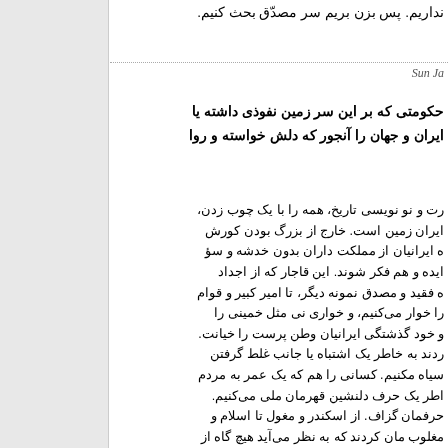نداریم.  پس بزن بریم سر مصدّق بحث کنیم.
Sun Ja
حکومتی که بر این سر زمین نفوذی داشته یا
ایران و جهان را آنجور که دلش خواسته و روا
رت و نو نویسی تاریخ، همه را با یک چوب زدن،
ایران زمین است. خارج از بزرگ بودن کورش
ه ایرانیان از مملکت داران بدون خدشه و سؤ
ایده و هم فکر شوند. این قاجار که از اجداد
ه فقید و مصدق نمونه دیگر، تا امیر کبیر و قوام
را خوار می‌کنیم، و خواری نی مثل خمینی را
و خود گذشتگی ایرانیان وطن پرست را خیانت.
ردند به خاطر یک اشتباه یا جانب غلط گرفتن
سیاه مکنیم. کسانی را هم که یک عمر به مردم
اطر یک حرف دلنشین قهرمان ملی می‌کنیم.
حرفمان گزاف. از اسکندر و مغول تا اسلام و
مغلوب مان کردند که به نظر می‌آید هیچ گاه از
میدی مانده این سرطان ۳۲ ساله پوست و
ین استخوان نحیف به جا مانده رخصتی چندان